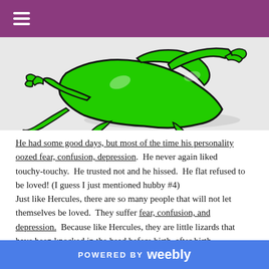[Figure (illustration): A green cartoon lizard (gecko) running, viewed from above, with bold black outlines and white highlights, on a light gray background.]
He had some good days, but most of the time his personality oozed fear, confusion, depression.  He never again liked touchy-touchy.  He trusted not and he hissed.  He flat refused to be loved! (I guess I just mentioned hubby #4)
Just like Hercules, there are so many people that will not let themselves be loved.  They suffer fear, confusion, and depression.  Because like Hercules, they are little lizards that have been knocked in the head before birth, after birth,
POWERED BY weebly